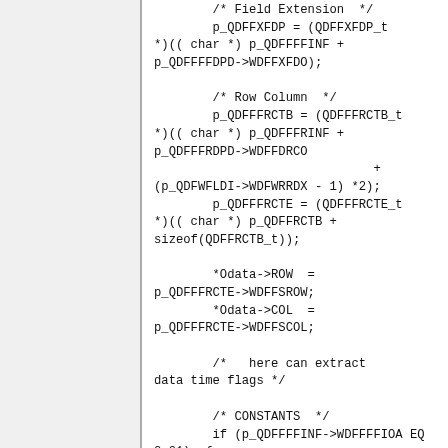/* Field Extension */
        p_QDFFXFDP = (QDFFXFDP_t *)(( char *) p_QDFFFFINF +
p_QDFFFFDPD->WDFFXFDO);

        /* Row Column  */
        p_QDFFFRCTB = (QDFFFRCTB_t *)(( char *) p_QDFFFRINF +
p_QDFFFRDPD->WDFFDRCO
                              +
(p_QDFWFLDI->WDFWRRDX - 1) *2);
        p_QDFFFRCTE = (QDFFFRCTE_t *)(( char *) p_QDFFRCTB +
sizeof(QDFFRCTB_t));

        *Odata->ROW  =
p_QDFFFRCTE->WDFFSROW;
        *Odata->COL  =
p_QDFFFRCTE->WDFFSCOL;

        /*   here can extract data time flags */

        /* CONSTANTS  */
        if (p_QDFFFFINF->WDFFFFIOA EQ 0x01)  {
        /* constant  */
        ProcessCons();

    }
    else {
        /*    Field Name   */